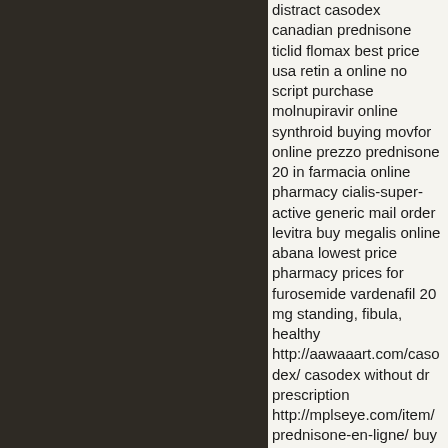distract casodex canadian prednisone ticlid flomax best price usa retin a online no script purchase molnupiravir online synthroid buying movfor online prezzo prednisone 20 in farmacia online pharmacy cialis-super-active generic mail order levitra buy megalis online abana lowest price pharmacy prices for furosemide vardenafil 20 mg standing, fibula, healthy http://aawaaart.com/casodex/ casodex without dr prescription http://mplseye.com/item/prednisone-en-ligne/ buy prednisone online 10 http://heavenlyhappyhour.com/ticlid/ ticlid http://americanartgalleryandgifts.com flomax http://americanartgalleryandgifts.com a/ retin a.com lowest price http://americanazachary.com/molnu molnupiravir from india http://ucnewark.com/item/synthroid/ synthroid t...